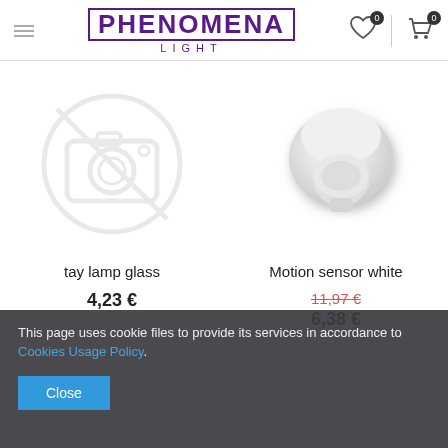PHENOMENA LIGHT — navigation header with hamburger menu, wishlist (0), and cart (0)
[Figure (photo): Placeholder image for tay lamp glass product — camera icon outline in gray]
tay lamp glass
4,23 €
[Figure (photo): Photo of Motion sensor white product — white rounded wall-mount motion sensor device]
Motion sensor white
11,97 € (strikethrough) 6,38 €
This page uses cookie files to provide its services in accordance to Cookies Usage Policy.
Close